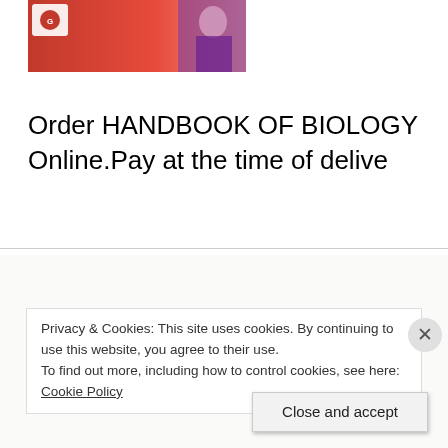[Figure (photo): Book cover image for Handbook of Biology with a red gradient background and a person in the corner, with a logo in the top left]
Order HANDBOOK OF BIOLOGY Online.Pay at the time of delive
quotes Rahul likes
Privacy & Cookies: This site uses cookies. By continuing to use this website, you agree to their use.
To find out more, including how to control cookies, see here: Cookie Policy
Close and accept